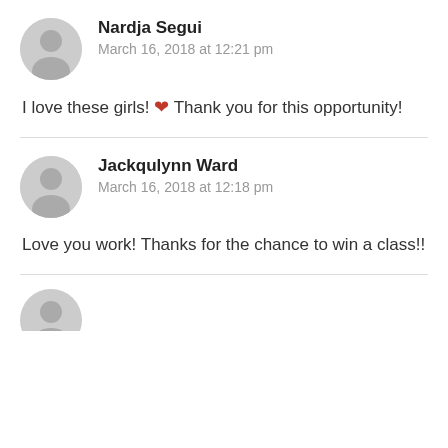Nardja Segui
March 16, 2018 at 12:21 pm
I love these girls! ❤ Thank you for this opportunity!
Jackqulynn Ward
March 16, 2018 at 12:18 pm
Love you work! Thanks for the chance to win a class!!